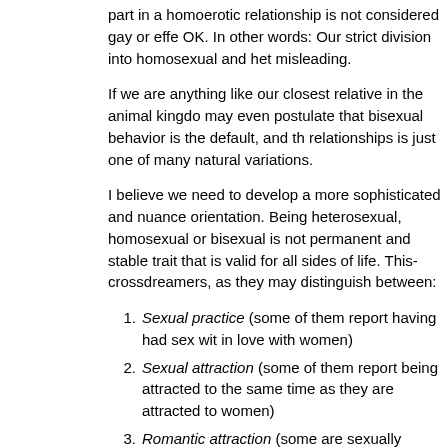part in a homoerotic relationship is not considered gay or effe... OK. In other words: Our strict division into homosexual and het... misleading.
If we are anything like our closest relative in the animal kingdo... may even postulate that bisexual behavior is the default, and th... relationships is just one of many natural variations.
I believe we need to develop a more sophisticated and nuance... orientation. Being heterosexual, homosexual or bisexual is not... permanent and stable trait that is valid for all sides of life. This... crossdreamers, as they may distinguish between:
Sexual practice (some of them report having had sex wit... in love with women)
Sexual attraction (some of them report being attracted to... the same time as they are attracted to women)
Romantic attraction (some are sexually attracted to men... women)
Sexual fantasy (some report having fantasies about havi... if they are not attracted to them)
Sexual identity (some consider themselves homosexual...